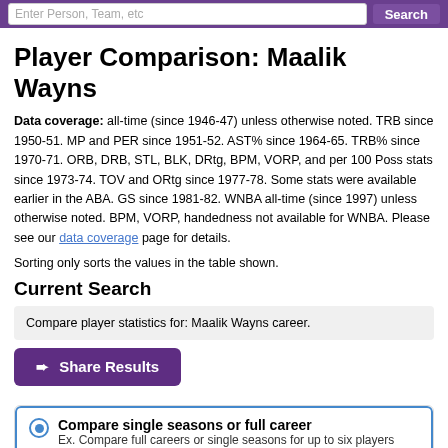Enter Person, Team, etc  Search
Player Comparison: Maalik Wayns
Data coverage: all-time (since 1946-47) unless otherwise noted. TRB since 1950-51. MP and PER since 1951-52. AST% since 1964-65. TRB% since 1970-71. ORB, DRB, STL, BLK, DRtg, BPM, VORP, and per 100 Poss stats since 1973-74. TOV and ORtg since 1977-78. Some stats were available earlier in the ABA. GS since 1981-82. WNBA all-time (since 1997) unless otherwise noted. BPM, VORP, handedness not available for WNBA. Please see our data coverage page for details.
Sorting only sorts the values in the table shown.
Current Search
Compare player statistics for: Maalik Wayns career.
➨ Share Results
Compare single seasons or full career
Ex. Compare full careers or single seasons for up to six players
Compare group of seasons